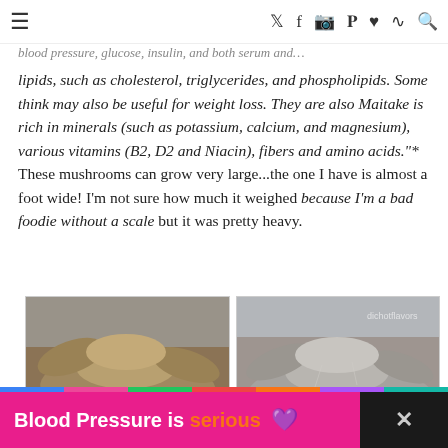≡  [social icons: twitter, facebook, instagram, pinterest, heart, rss, search]
in China for many years... blood pressure, glucose, insulin, and both serum and lipids, such as cholesterol, triglycerides, and phospholipids. Some think may also be useful for weight loss. They are also Maitake is rich in minerals (such as potassium, calcium, and magnesium), various vitamins (B2, D2 and Niacin), fibers and amino acids."* These mushrooms can grow very large...the one I have is almost a foot wide! I'm not sure how much it weighed because I'm a bad foodie without a scale but it was pretty heavy.
[Figure (photo): Two side-by-side photos of large Maitake mushrooms on a surface, showing the dense layered fronds characteristic of hen-of-the-woods mushrooms.]
Blood Pressure is serious ♥